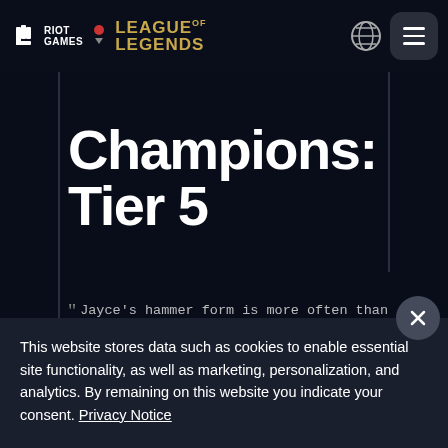RIOT GAMES | LEAGUE OF LEGENDS
Champions:
Tier 5
Jayce's hammer form is more often than not his best form, partially due to the excessive tankiness it brings, and partially due to Jayce's shaky performance when using cannon form—even on
This website stores data such as cookies to enable essential site functionality, as well as marketing, personalization, and analytics. By remaining on this website you indicate your consent. Privacy Notice